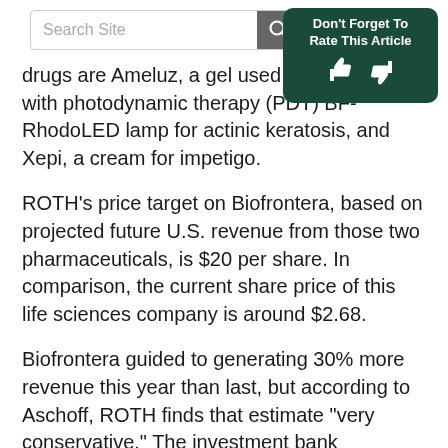Search Site | Don't Forget To Rate This Article
drugs are Ameluz, a gel used in combination with photodynamic therapy (PDT) BF-RhodoLED lamp for actinic keratosis, and Xepi, a cream for impetigo.
ROTH's price target on Biofrontera, based on projected future U.S. revenue from those two pharmaceuticals, is $20 per share. In comparison, the current share price of this life sciences company is around $2.68.
Biofrontera guided to generating 30% more revenue this year than last, but according to Aschoff, ROTH finds that estimate "very conservative." The investment bank